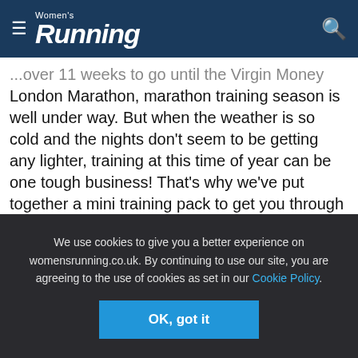Women's Running
...over 11 weeks to go until the Virgin Money London Marathon, marathon training season is well under way. But when the weather is so cold and the nights don't seem to be getting any lighter, training at this time of year can be one tough business! That's why we've put together a mini training pack to get you through the chilly training season. Featuring everything from our Complete Marathon Training Guide, to blinking lights to keep you seen on those early morning runs to a cooling moisturiser to hydrate your skin after a long run, our kit should help you through the next few months. Browse the products below and enter your details for
We use cookies to give you a better experience on womensrunning.co.uk. By continuing to use our site, you are agreeing to the use of cookies as set in our Cookie Policy.
OK, got it